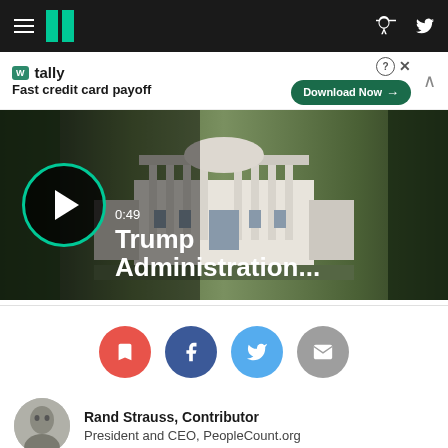HuffPost navigation bar with logo, hamburger menu, Facebook and Twitter icons
[Figure (infographic): Tally advertisement banner: 'Fast credit card payoff' with Download Now button]
[Figure (screenshot): Video thumbnail showing White House with play button, duration 0:49, title 'Trump Administration...']
[Figure (infographic): Social share buttons row: bookmark (red), Facebook (blue), Twitter (light blue), email (gray)]
Rand Strauss, Contributor
President and CEO, PeopleCount.org